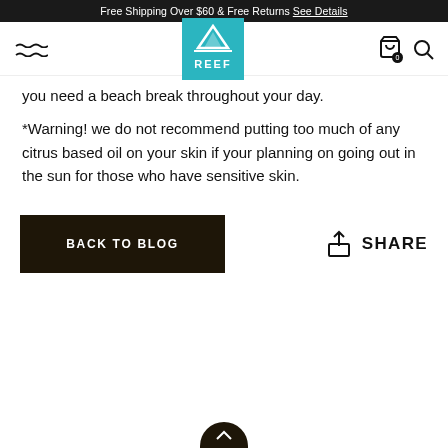Free Shipping Over $60 & Free Returns See Details
[Figure (logo): Reef brand logo - teal square with mountain/wave icon and REEF text]
you need a beach break throughout your day.
*Warning! we do not recommend putting too much of any citrus based oil on your skin if your planning on going out in the sun for those who have sensitive skin.
BACK TO BLOG
SHARE